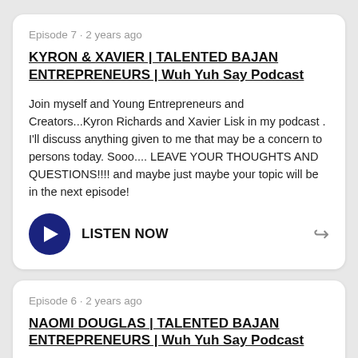Episode 7 · 2 years ago
KYRON & XAVIER | TALENTED BAJAN ENTREPRENEURS | Wuh Yuh Say Podcast
Join myself and Young Entrepreneurs and Creators...Kyron Richards and Xavier Lisk in my podcast . I'll discuss anything given to me that may be a concern to persons today. Sooo.... LEAVE YOUR THOUGHTS AND QUESTIONS!!!! and maybe just maybe your topic will be in the next episode!
LISTEN NOW
Episode 6 · 2 years ago
NAOMI DOUGLAS | TALENTED BAJAN ENTREPRENEURS | Wuh Yuh Say Podcast